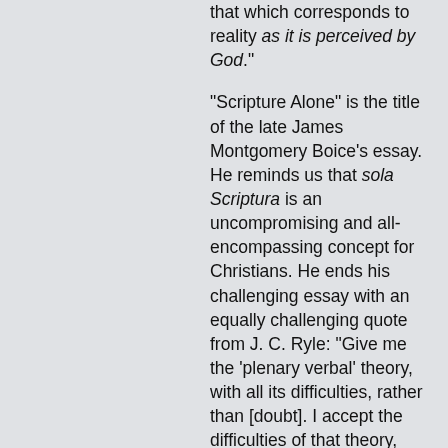that which corresponds to reality as it is perceived by God.".
"Scripture Alone" is the title of the late James Montgomery Boice's essay. He reminds us that sola Scriptura is an uncompromising and all-encompassing concept for Christians. He ends his challenging essay with an equally challenging quote from J. C. Ryle: "Give me the 'plenary verbal' theory, with all its difficulties, rather than [doubt]. I accept the difficulties of that theory, and humbly wait for their solution. But while I wait, I feel that I am standing on a